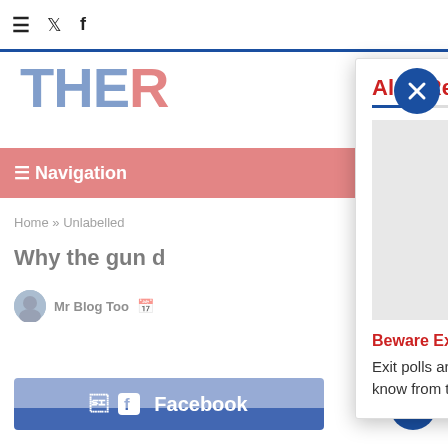≡ 🐦 f
THE...
≡ Navigation
Home » Unlabelled ...
Why the gun d...
Mr Blog Too
Also Read
[Figure (other): No Image Available placeholder box]
Beware Exit Polls- VOTE
Exit polls are notoriously inaccurate at predicting the winner of elections, as devastated Democrats know from the 2004
Facebook